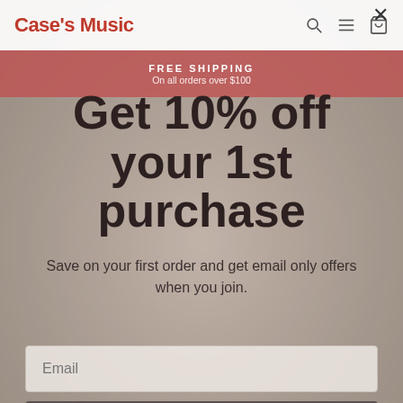Case's Music
FREE SHIPPING
On all orders over $100
Get 10% off your 1st purchase
Save on your first order and get email only offers when you join.
Email
Continue